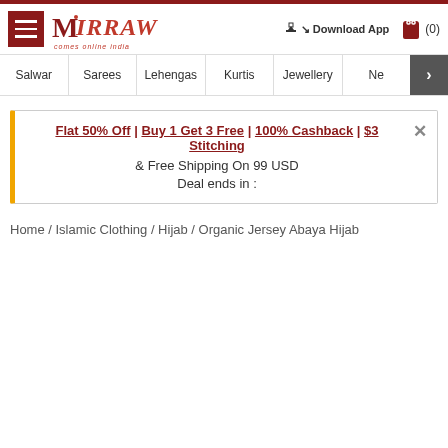Mirraw - comes online india | Download App | (0)
Salwar | Sarees | Lehengas | Kurtis | Jewellery | Ne >
Flat 50% Off | Buy 1 Get 3 Free | 100% Cashback | $3 Stitching & Free Shipping On 99 USD Deal ends in :
Home / Islamic Clothing / Hijab / Organic Jersey Abaya Hijab